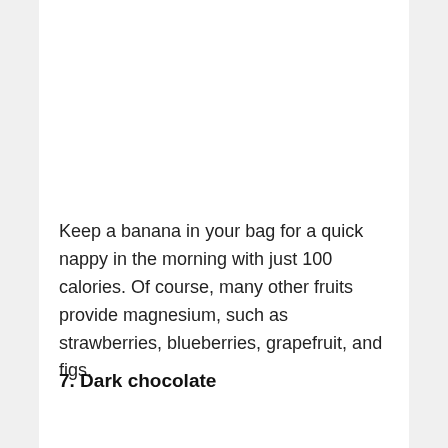Keep a banana in your bag for a quick nappy in the morning with just 100 calories. Of course, many other fruits provide magnesium, such as strawberries, blueberries, grapefruit, and figs.
7. Dark chocolate